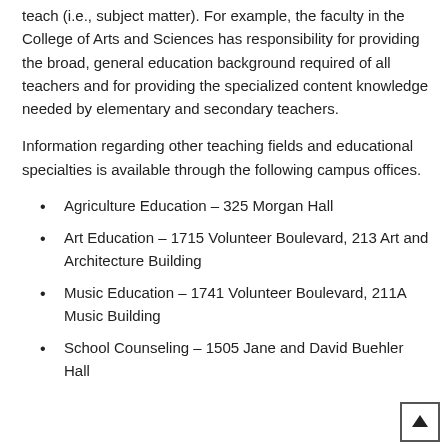teach (i.e., subject matter). For example, the faculty in the College of Arts and Sciences has responsibility for providing the broad, general education background required of all teachers and for providing the specialized content knowledge needed by elementary and secondary teachers.
Information regarding other teaching fields and educational specialties is available through the following campus offices.
Agriculture Education – 325 Morgan Hall
Art Education – 1715 Volunteer Boulevard, 213 Art and Architecture Building
Music Education – 1741 Volunteer Boulevard, 211A Music Building
School Counseling – 1505 Jane and David Buehler Hall